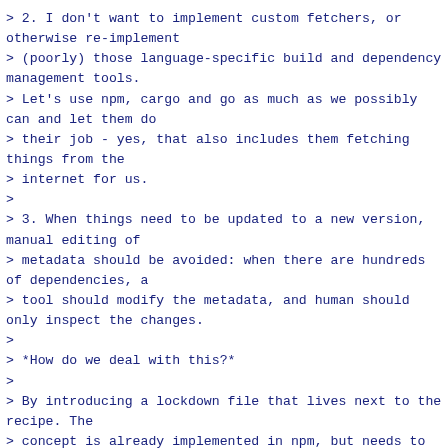> 2. I don't want to implement custom fetchers, or otherwise re-implement
> (poorly) those language-specific build and dependency management tools.
> Let's use npm, cargo and go as much as we possibly can and let them do
> their job - yes, that also includes them fetching things from the
> internet for us.
>
> 3. When things need to be updated to a new version, manual editing of
> metadata should be avoided: when there are hundreds of dependencies, a
> tool should modify the metadata, and human should only inspect the changes.
>
> *How do we deal with this?*
>
> By introducing a lockdown file that lives next to the recipe. The
> concept is already implemented in npm, but needs to be made generic and
> come with a common API that is using the file to verify the build.
>
> *What is a lockdown file?*
>
> The file captures all of the recipe dependencies that are pulled in by